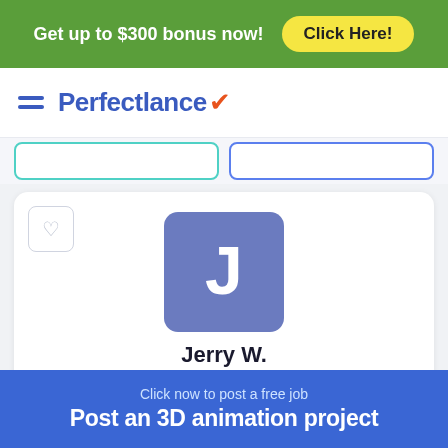Get up to $300 bonus now! Click Here!
[Figure (logo): Perfectlance logo with hamburger menu icon, blue text and orange checkmark]
[Figure (screenshot): Two search/filter input boxes partially visible]
[Figure (illustration): Profile card for Jerry W. with avatar showing letter J, star rating N/A, location United States, heart favorite button, and chat button]
Jerry W.
N/A
United States
Click now to post a free job
Post an 3D animation project